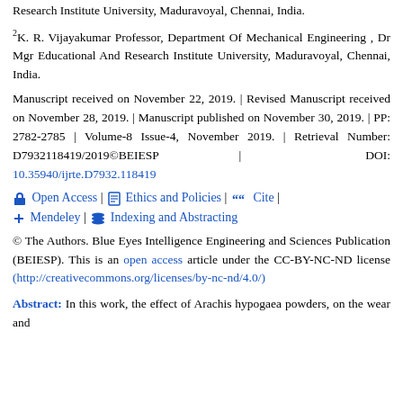Research Institute University, Maduravoyal, Chennai, India.
2K. R. Vijayakumar Professor, Department Of Mechanical Engineering , Dr Mgr Educational And Research Institute University, Maduravoyal, Chennai, India.
Manuscript received on November 22, 2019. | Revised Manuscript received on November 28, 2019. | Manuscript published on November 30, 2019. | PP: 2782-2785 | Volume-8 Issue-4, November 2019. | Retrieval Number: D7932118419/2019©BEIESP | DOI: 10.35940/ijrte.D7932.118419
Open Access | Ethics and Policies | Cite | Mendeley | Indexing and Abstracting
© The Authors. Blue Eyes Intelligence Engineering and Sciences Publication (BEIESP). This is an open access article under the CC-BY-NC-ND license (http://creativecommons.org/licenses/by-nc-nd/4.0/)
Abstract: In this work, the effect of Arachis hypogaea powders, on the wear and ...